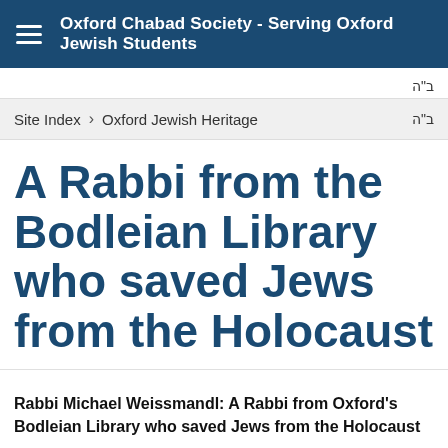Oxford Chabad Society - Serving Oxford Jewish Students
ב"ה
Site Index > Oxford Jewish Heritage ב"ה
A Rabbi from the Bodleian Library who saved Jews from the Holocaust
Rabbi Michael Weissmandl: A Rabbi from Oxford's Bodleian Library who saved Jews from the Holocaust